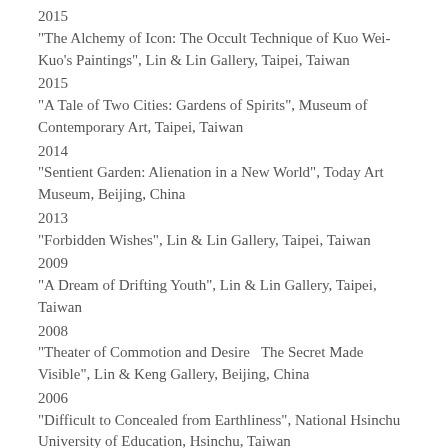2015
“The Alchemy of Icon: The Occult Technique of Kuo Wei-Kuo’s Paintings”, Lin & Lin Gallery, Taipei, Taiwan
2015
“A Tale of Two Cities: Gardens of Spirits”, Museum of Contemporary Art, Taipei, Taiwan
2014
“Sentient Garden: Alienation in a New World”, Today Art Museum, Beijing, China
2013
“Forbidden Wishes”, Lin & Lin Gallery, Taipei, Taiwan
2009
“A Dream of Drifting Youth”, Lin & Lin Gallery, Taipei, Taiwan
2008
“Theater of Commotion and Desire The Secret Made Visible”, Lin & Keng Gallery, Beijing, China
2006
“Difficult to Concealed from Earthliness”, National Hsinchu University of Education, Hsinchu, Taiwan
“Diagram of Commotion and Desire From Gloominess to a Brand New Bright Start”, Taipei Fine Arts Museum, Taipei,